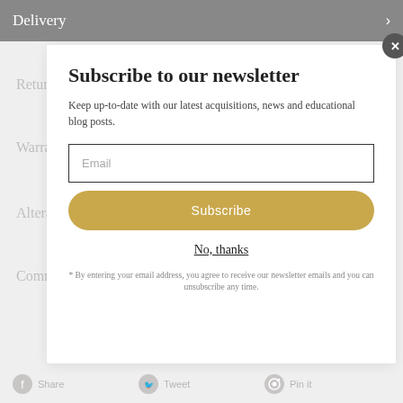Delivery
Returns
Warranty
Alterations
Commissions
Subscribe to our newsletter
Keep up-to-date with our latest acquisitions, news and educational blog posts.
Email
Subscribe
No, thanks
* By entering your email address, you agree to receive our newsletter emails and you can unsubscribe any time.
Share   Tweet   Pin it